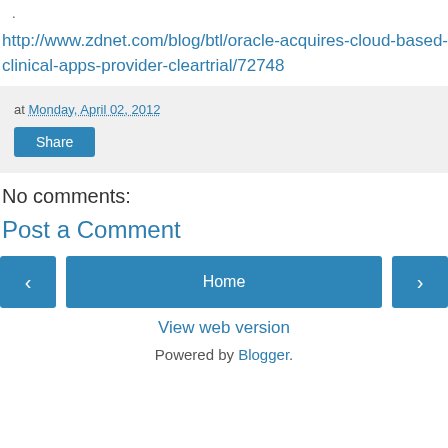.
http://www.zdnet.com/blog/btl/oracle-acquires-cloud-based-clinical-apps-provider-cleartrial/72748
at Monday, April 02, 2012
Share
No comments:
Post a Comment
‹
Home
›
View web version
Powered by Blogger.